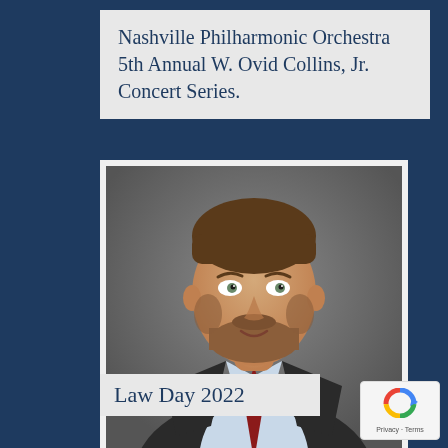Nashville Philharmonic Orchestra 5th Annual W. Ovid Collins, Jr. Concert Series.
[Figure (photo): Professional headshot of a young man with short brown hair and a reddish-brown beard, wearing a dark suit, light blue shirt, and red patterned tie, against a grey background.]
Law Day 2022